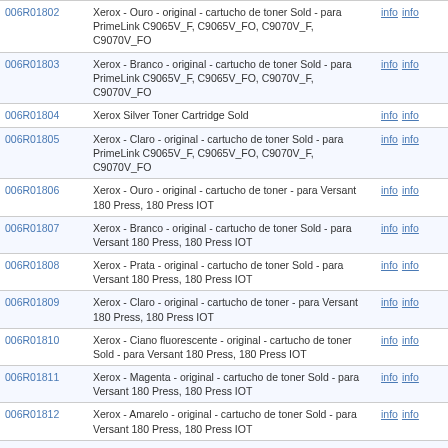| Code | Description | Links |
| --- | --- | --- |
| 006R01802 | Xerox - Ouro - original - cartucho de toner Sold - para PrimeLink C9065V_F, C9065V_FO, C9070V_F, C9070V_FO | info info |
| 006R01803 | Xerox - Branco - original - cartucho de toner Sold - para PrimeLink C9065V_F, C9065V_FO, C9070V_F, C9070V_FO | info info |
| 006R01804 | Xerox Silver Toner Cartridge Sold | info info |
| 006R01805 | Xerox - Claro - original - cartucho de toner Sold - para PrimeLink C9065V_F, C9065V_FO, C9070V_F, C9070V_FO | info info |
| 006R01806 | Xerox - Ouro - original - cartucho de toner - para Versant 180 Press, 180 Press IOT | info info |
| 006R01807 | Xerox - Branco - original - cartucho de toner Sold - para Versant 180 Press, 180 Press IOT | info info |
| 006R01808 | Xerox - Prata - original - cartucho de toner Sold - para Versant 180 Press, 180 Press IOT | info info |
| 006R01809 | Xerox - Claro - original - cartucho de toner - para Versant 180 Press, 180 Press IOT | info info |
| 006R01810 | Xerox - Ciano fluorescente - original - cartucho de toner Sold - para Versant 180 Press, 180 Press IOT | info info |
| 006R01811 | Xerox - Magenta - original - cartucho de toner Sold - para Versant 180 Press, 180 Press IOT | info info |
| 006R01812 | Xerox - Amarelo - original - cartucho de toner Sold - para Versant 180 Press, 180 Press IOT | info info |
| 006R04383 | Toner Xerox C230 / C235 Black Standard Capacity Toner Cartridge (1,500 pages) | info info |
| 006R04384 | Toner Xerox C230 / C235 Cyan Standard Capacity Toner Cartridge (1,500 pages) | info info |
| 006R04385 | Toner Xerox C230 / C235 Magenta Standard Capacity Toner Cartridge (1,500 pages) | info info |
| 006R04386 | Toner Xerox C230 / C235 Yellow Standard Capacity Toner Cartridge (1,500 pages) | info info |